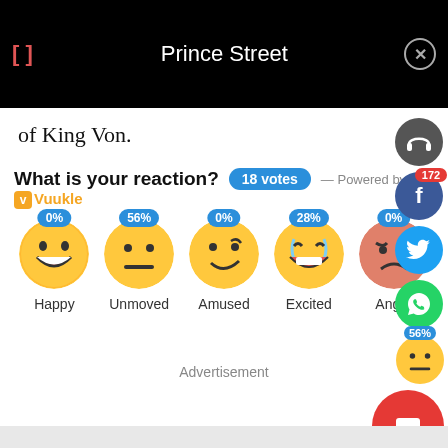[] Prince Street
of King Von.
What is your reaction? 18 votes — Powered by Vuukle
[Figure (infographic): Emoji reaction widget showing 5 emotions: Happy 0%, Unmoved 56%, Amused 0%, Excited 28%, Angry 0%. Total 18 votes. Powered by Vuukle.]
Advertisement